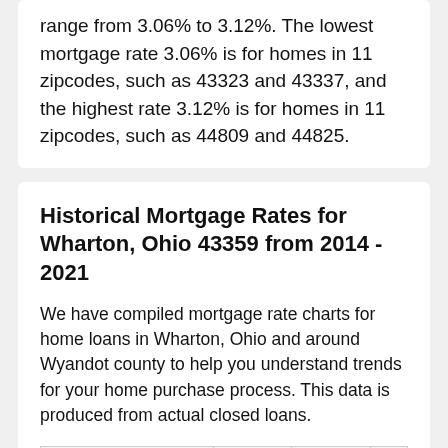range from 3.06% to 3.12%. The lowest mortgage rate 3.06% is for homes in 11 zipcodes, such as 43323 and 43337, and the highest rate 3.12% is for homes in 11 zipcodes, such as 44809 and 44825.
Historical Mortgage Rates for Wharton, Ohio 43359 from 2014 - 2021
We have compiled mortgage rate charts for home loans in Wharton, Ohio and around Wyandot county to help you understand trends for your home purchase process. This data is produced from actual closed loans.
|  | 2014 | 2015 |
| --- | --- | --- |
| % 30 year fixed mortgage | 88.24% | 86.25% |